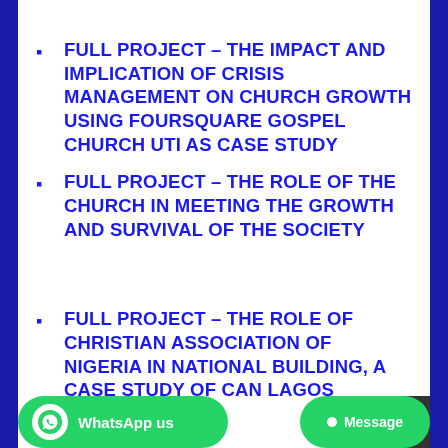FULL PROJECT – THE IMPACT AND IMPLICATION OF CRISIS MANAGEMENT ON CHURCH GROWTH USING FOURSQUARE GOSPEL CHURCH UTI AS CASE STUDY
FULL PROJECT – THE ROLE OF THE CHURCH IN MEETING THE GROWTH AND SURVIVAL OF THE SOCIETY
FULL PROJECT – THE ROLE OF CHRISTIAN ASSOCIATION OF NIGERIA IN NATIONAL BUILDING, A CASE STUDY OF CAN LAGOS BRANCH